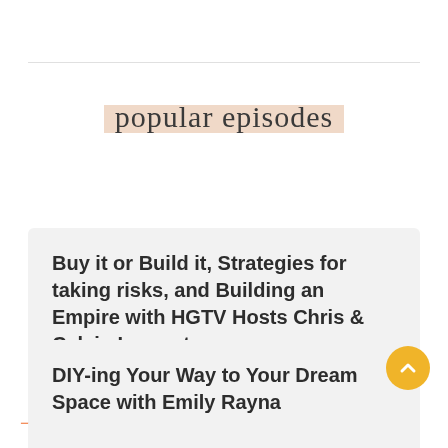popular episodes
Buy it or Build it, Strategies for taking risks, and Building an Empire with HGTV Hosts Chris & Calvin Lamont
DIY-ing Your Way to Your Dream Space with Emily Rayna